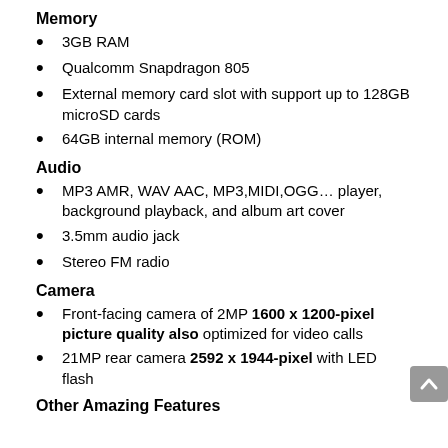Memory
3GB RAM
Qualcomm Snapdragon 805
External memory card slot with support up to 128GB microSD cards
64GB internal memory (ROM)
Audio
MP3 AMR, WAV AAC, MP3,MIDI,OGG… player, background playback, and album art cover
3.5mm audio jack
Stereo FM radio
Camera
Front-facing camera of 2MP 1600 x 1200-pixel picture quality also optimized for video calls
21MP rear camera 2592 x 1944-pixel with LED flash
Other Amazing Features